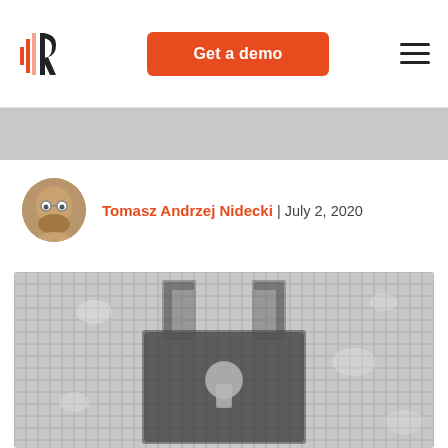Get a demo
[Figure (logo): Audio/data processing company logo with red and dark stylized icon]
Tomasz Andrzej Nidecki | July 2, 2020
[Figure (photo): Close-up photo of a pixelated/mosaic grid pattern in grayscale, showing a lock or security symbol made of small square tiles with water droplets]